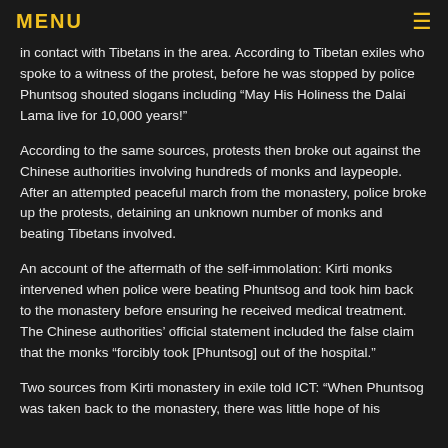MENU
in contact with Tibetans in the area. According to Tibetan exiles who spoke to a witness of the protest, before he was stopped by police Phuntsog shouted slogans including “May His Holiness the Dalai Lama live for 10,000 years!”
According to the same sources, protests then broke out against the Chinese authorities involving hundreds of monks and laypeople. After an attempted peaceful march from the monastery, police broke up the protests, detaining an unknown number of monks and beating Tibetans involved.
An account of the aftermath of the self-immolation: Kirti monks intervened when police were beating Phuntsog and took him back to the monastery before ensuring he received medical treatment. The Chinese authorities’ official statement included the false claim that the monks “forcibly took [Phuntsog] out of the hospital.”
Two sources from Kirti monastery in exile told ICT: “When Phuntsog was taken back to the monastery, there was little hope of his